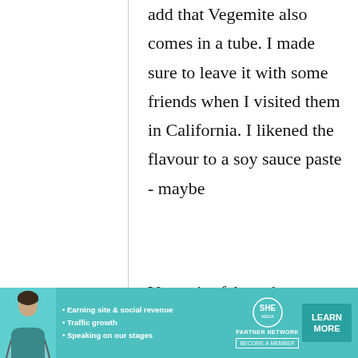add that Vegemite also comes in a tube. I made sure to leave it with some friends when I visited them in California. I likened the flavour to a soy sauce paste - maybe
Vegemite-fakers, but
[Figure (other): Advertisement banner for SHE Partner Network featuring a woman photo, bullet points about earning site & social revenue, traffic growth, speaking on stages, SHE logo, and a Learn More button with Become a Member text]